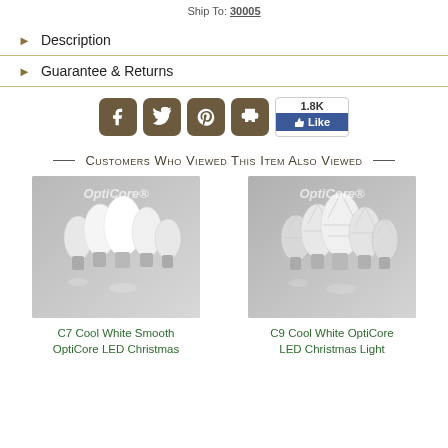Ship To: 30005
Description
Guarantee & Returns
[Figure (screenshot): Social sharing buttons: Facebook, Twitter, Pinterest, Print, and a Facebook Like button showing 1.8K likes]
Customers Who Viewed This Item Also Viewed
[Figure (photo): C7 Cool White Smooth OptiCore LED Christmas light bulbs on grey background]
C7 Cool White Smooth OptiCore LED Christmas
[Figure (photo): C9 Cool White OptiCore LED Christmas light bulbs on grey background]
C9 Cool White OptiCore LED Christmas Light